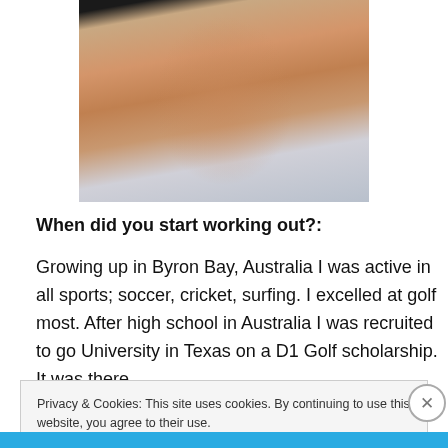[Figure (photo): A person lifting their shirt to reveal muscular abdominal area, wearing a white shirt, photographed against a dark background.]
When did you start working out?:
Growing up in Byron Bay, Australia I was active in all sports; soccer, cricket, surfing. I excelled at golf most. After high school in Australia I was recruited to go University in Texas on a D1 Golf scholarship. It was there
Privacy & Cookies: This site uses cookies. By continuing to use this website, you agree to their use.
To find out more, including how to control cookies, see here: Cookie Policy
Close and accept